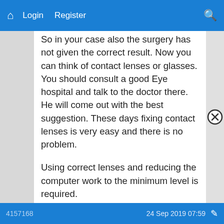Home | Login | Register | Search
So in your case also the surgery has not given the correct result. Now you can think of contact lenses or glasses. You should consult a good Eye hospital and talk to the doctor there. He will come out with the best suggestion. These days fixing contact lenses is very easy and there is no problem.

Using correct lenses and reducing the computer work to the minimum level is required.
drrao
always confident
4157168   24 Sep 2019 07:59